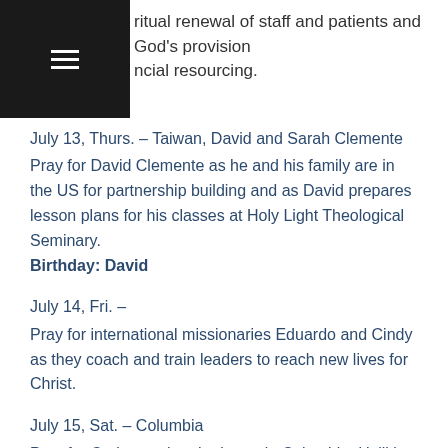ritual renewal of staff and patients and God's provision ncial resourcing.
July 13, Thurs. – Taiwan, David and Sarah Clemente
Pray for David Clemente as he and his family are in the US for partnership building and as David prepares lesson plans for his classes at Holy Light Theological Seminary.
Birthday: David
July 14, Fri. –
Pray for international missionaries Eduardo and Cindy as they coach and train leaders to reach new lives for Christ.
July 15, Sat. – Columbia
Pray for Carlos, a church planter in Columbia. He'll be hospitalized most of this month. Pray for Carlos as he recovers and his receptivity to the Gospel message as he shares the love